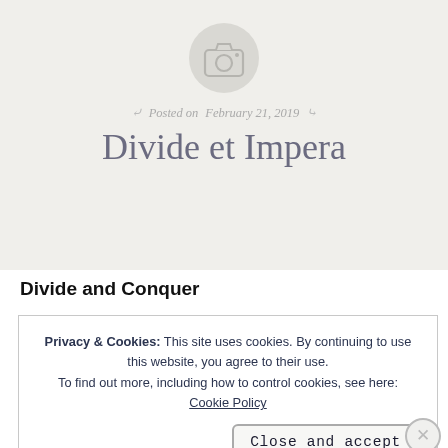[Figure (illustration): Camera icon inside a light gray circle, centered near top of page]
Posted on February 21, 2019
Divide et Impera
Divide and Conquer
Privacy & Cookies: This site uses cookies. By continuing to use this website, you agree to their use.
To find out more, including how to control cookies, see here: Cookie Policy
Close and accept